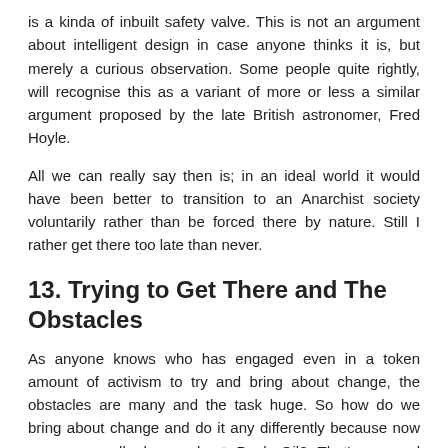is a kinda of inbuilt safety valve. This is not an argument about intelligent design in case anyone thinks it is, but merely a curious observation. Some people quite rightly, will recognise this as a variant of more or less a similar argument proposed by the late British astronomer, Fred Hoyle.
All we can really say then is; in an ideal world it would have been better to transition to an Anarchist society voluntarily rather than be forced there by nature. Still I rather get there too late than never.
13. Trying to Get There and The Obstacles
As anyone knows who has engaged even in a token amount of activism to try and bring about change, the obstacles are many and the task huge. So how do we bring about change and do it any differently because now we supposedly know about Peak Oil? That's a good question. The most sensible thing at the moment is to start getting people to educate themselves about Peak Oil and what the consequences of it mean to our destructive way of life. Being fore-warned is being fore-armed and if people take that